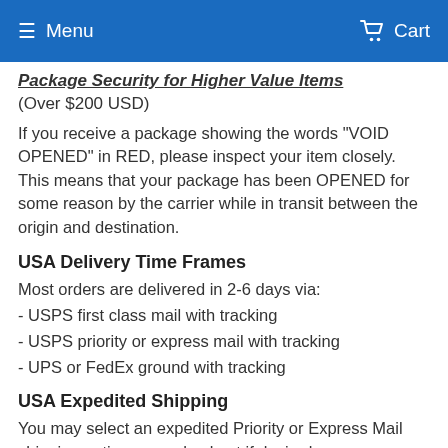Menu   Cart
Package Security for Higher Value Items (Over $200 USD)
If you receive a package showing the words "VOID OPENED" in RED, please inspect your item closely. This means that your package has been OPENED for some reason by the carrier while in transit between the origin and destination.
USA Delivery Time Frames
Most orders are delivered in 2-6 days via:
- USPS first class mail with tracking
- USPS priority or express mail with tracking
- UPS or FedEx ground with tracking
USA Expedited Shipping
You may select an expedited Priority or Express Mail shipping option upon checkout if desired.